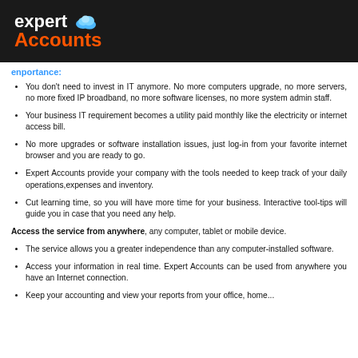expert Accounts
enportance:
You don't need to invest in IT anymore. No more computers upgrade, no more servers, no more fixed IP broadband, no more software licenses, no more system admin staff.
Your business IT requirement becomes a utility paid monthly like the electricity or internet access bill.
No more upgrades or software installation issues, just log-in from your favorite internet browser and you are ready to go.
Expert Accounts provide your company with the tools needed to keep track of your daily operations,expenses and inventory.
Cut learning time, so you will have more time for your business. Interactive tool-tips will guide you in case that you need any help.
Access the service from anywhere, any computer, tablet or mobile device.
The service allows you a greater independence than any computer-installed software.
Access your information in real time. Expert Accounts can be used from anywhere you have an Internet connection.
Keep your accounting and view your reports from your office, home...